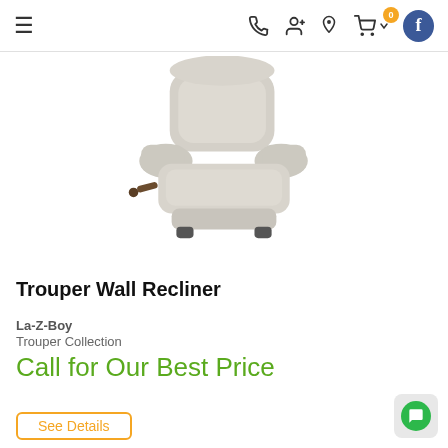Navigation bar with hamburger menu, phone icon, account icon, location icon, cart (0), and Facebook icon
[Figure (photo): Light gray/cream colored La-Z-Boy Trouper Wall Recliner chair on white background, showing reclining handle on the left side]
Trouper Wall Recliner
La-Z-Boy
Trouper Collection
Call for Our Best Price
See Details